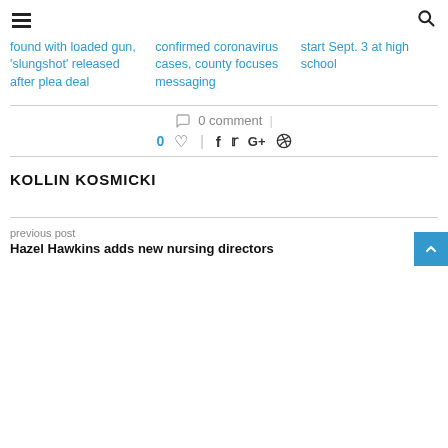≡  🔍
found with loaded gun, 'slungshot' released after plea deal
confirmed coronavirus cases, county focuses messaging
start Sept. 3 at high school
0 comment
0 ♡  |  f  t  G+  ⓟ
KOLLIN KOSMICKI
previous post
Hazel Hawkins adds new nursing directors